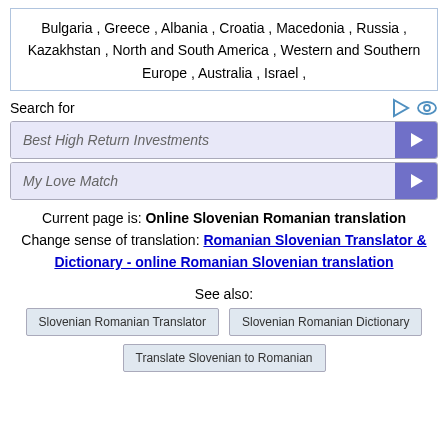Bulgaria , Greece , Albania , Croatia , Macedonia , Russia , Kazakhstan , North and South America , Western and Southern Europe , Australia , Israel ,
Search for
Best High Return Investments
My Love Match
Current page is: Online Slovenian Romanian translation
Change sense of translation: Romanian Slovenian Translator & Dictionary - online Romanian Slovenian translation
See also:
Slovenian Romanian Translator
Slovenian Romanian Dictionary
Translate Slovenian to Romanian